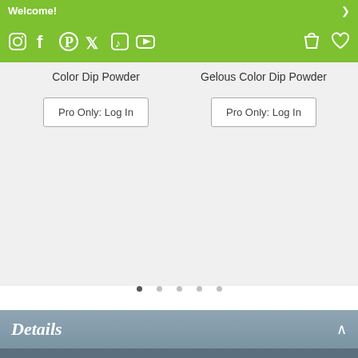Welcome!
[Figure (screenshot): Social media icons bar: Instagram, Facebook, Pinterest, Twitter, TikTok, YouTube icons on green background, with shopping bag and heart icons on the right]
Color Dip Powder
Pro Only: Log In
Gelous Color Dip Powder
Pro Only: Log In
Details
Gelous Color—SNS's salon quality dip powder—boasts its award-winning formula. This extremely fine grain powder helps create a stunning finished surface with richer and